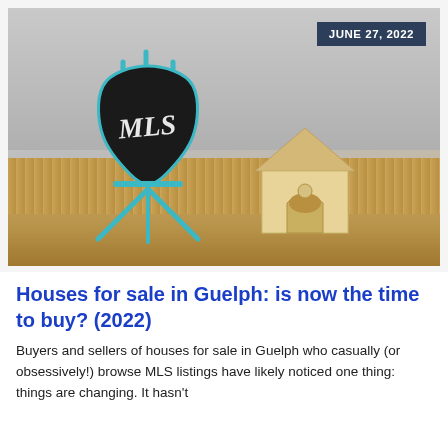[Figure (photo): Photo of a teal miniature easel chalkboard with 'MLS' written in chalk, next to a small wooden toy house, both sitting on wooden slat surface with grey background. A date badge reads 'JUNE 27, 2022' in the top right corner.]
Houses for sale in Guelph: is now the time to buy? (2022)
Buyers and sellers of houses for sale in Guelph who casually (or obsessively!) browse MLS listings have likely noticed one thing: things are changing. It hasn't